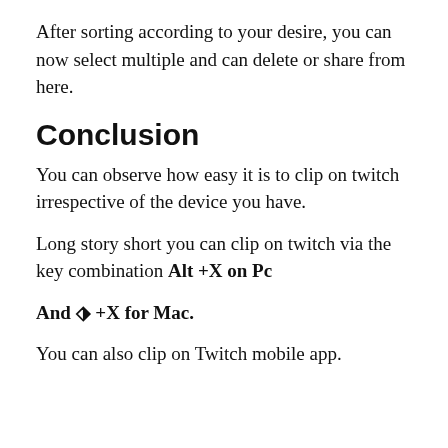After sorting according to your desire, you can now select multiple and can delete or share from here.
Conclusion
You can observe how easy it is to clip on twitch irrespective of the device you have.
Long story short you can clip on twitch via the key combination Alt +X on Pc
And ⌥ +X for Mac.
You can also clip on Twitch mobile app.